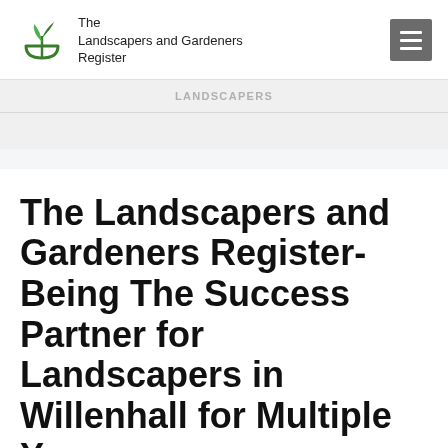The Landscapers and Gardeners Register
LANDSCAPERS
The Landscapers and Gardeners Register- Being The Success Partner for Landscapers in Willenhall for Multiple Years